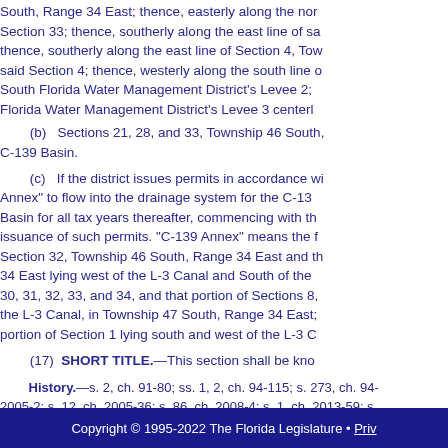South, Range 34 East; thence, easterly along the nor... Section 33; thence, southerly along the east line of sa... thence, southerly along the east line of Section 4, To... said Section 4; thence, westerly along the south line o... South Florida Water Management District's Levee 2;... Florida Water Management District's Levee 3 centerl...
(b) Sections 21, 28, and 33, Township 46 South, ... C-139 Basin.
(c) If the district issues permits in accordance wi... Annex" to flow into the drainage system for the C-13... Basin for all tax years thereafter, commencing with th... issuance of such permits. "C-139 Annex" means the f... Section 32, Township 46 South, Range 34 East and th... 34 East lying west of the L-3 Canal and South of the... 30, 31, 32, 33, and 34, and that portion of Sections 8,... the L-3 Canal, in Township 47 South, Range 34 East;... portion of Section 1 lying south and west of the L-3 C...
(17) SHORT TITLE.—This section shall be kno...
History.—s. 2, ch. 91-80; ss. 1, 2, ch. 94-115; s. 273, ch. 94-... 2005-2; s. 12, ch. 2005-36; s. 86, ch. 2008-4; s. 1, ch. 2013-59; s... 2020-2.
Copyright © 1995-2022 The Florida Legislature • Priv...